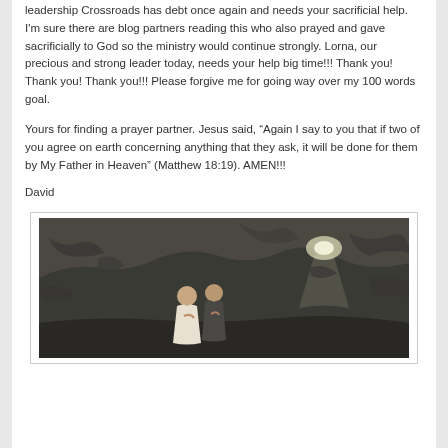leadership Crossroads has debt once again and needs your sacrificial help. I'm sure there are blog partners reading this who also prayed and gave sacrificially to God so the ministry would continue strongly. Lorna, our precious and strong leader today, needs your help big time!!! Thank you! Thank you! Thank you!!! Please forgive me for going way over my 100 words goal.
Yours for finding a prayer partner. Jesus said, “Again I say to you that if two of you agree on earth concerning anything that they ask, it will be done for them by My Father in Heaven” (Matthew 18:19). AMEN!!!
David
[Figure (photo): Two people praying or kneeling inside a cave or stone grotto, with dim lighting and rocky walls visible.]